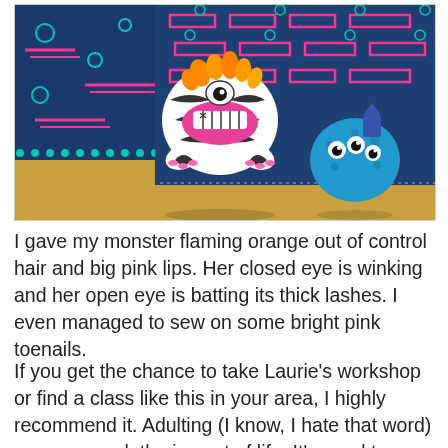[Figure (photo): Two handmade stuffed monster toys sitting on a yellow table in front of decorative denim pillows. The main monster has black-and-white zebra-stripe fabric, orange curly hair, one winking eye and one open eye, large pink lips with stitched teeth, and bright pink toenails. A smaller blue round monster with multiple eyes sits to the right.]
I gave my monster flaming orange out of control hair and big pink lips. Her closed eye is winking and her open eye is batting its thick lashes. I even managed to sew on some bright pink toenails.
If you get the chance to take Laurie's workshop or find a class like this in your area, I highly recommend it. Adulting (I know, I hate that word) can sure suck the joy out of life. It's good to inject a little whimsy back in when you get the